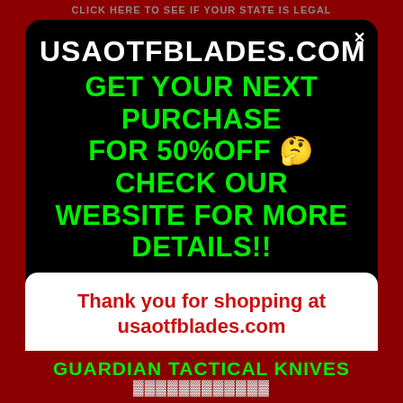CLICK HERE TO SEE IF YOUR STATE IS LEGAL
USAOTFBLADES.COM
GET YOUR NEXT PURCHASE FOR 50%OFF 🤔 CHECK OUR WEBSITE FOR MORE DETAILS!!
Thank you for shopping at usaotfblades.com
If the knife you are looking for is currently out of stock don't worry we get shipments in at least once a week so make sure to check back...
GUARDIAN TACTICAL KNIVES